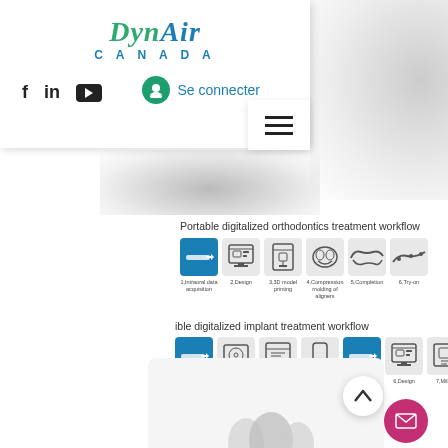[Figure (screenshot): DynAir Canada website screenshot showing navigation header with logo, social media icons (Facebook, LinkedIn, YouTube), Se connecter login button, hamburger menu, and two workflow infographics: Portable digitalized orthodontics treatment workflow and digitalized implant treatment workflow]
DynAir CANADA
Se connecter
Portable digitalized orthodontics treatment workflow
ible digitalized implant treatment workflow